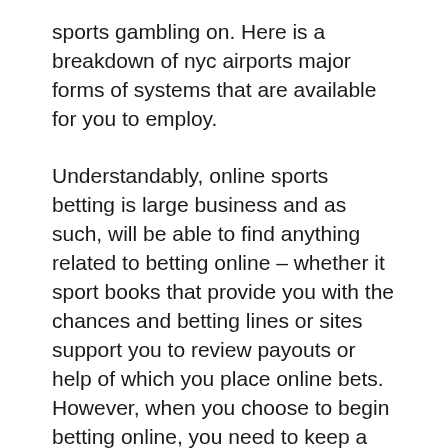sports gambling on. Here is a breakdown of nyc airports major forms of systems that are available for you to employ.
Understandably, online sports betting is large business and as such, will be able to find anything related to betting online – whether it sport books that provide you with the chances and betting lines or sites support you to review payouts or help of which you place online bets. However, when you choose to begin betting online, you need to keep a few things in mind, which shall in order to to practice safe internet betting.
But it had its disadvantages far too. To bet on a horse you to attend the race which was very time consuming. If one did not have